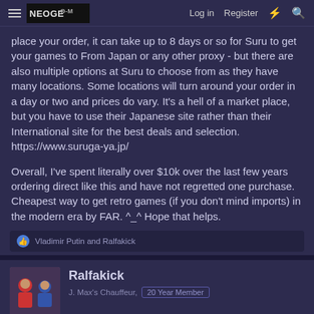NEOGEO-M | Log in  Register
place your order, it can take up to 8 days or so for Suru to get your games to From Japan or any other proxy - but there are also multiple options at Suru to choose from as they have many locations. Some locations will turn around your order in a day or two and prices do vary. It's a hell of a market place, but you have to use their Japanese site rather than their International site for the best deals and selection. https://www.suruga-ya.jp/
Overall, I've spent literally over $10k over the last few years ordering direct like this and have not regretted one purchase. Cheapest way to get retro games (if you don't mind imports) in the modern era by FAR. ^_^ Hope that helps.
Vladimir Putin and Ralfakick
Ralfakick
J. Max's Chauffeur,  20 Year Member
Jan 26, 2022  #23,822